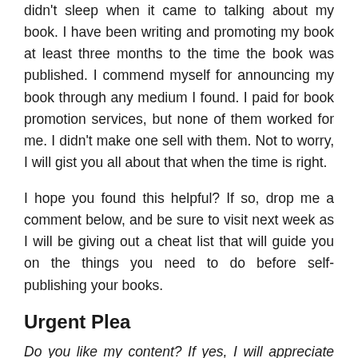didn't sleep when it came to talking about my book. I have been writing and promoting my book at least three months to the time the book was published. I commend myself for announcing my book through any medium I found. I paid for book promotion services, but none of them worked for me. I didn't make one sell with them. Not to worry, I will gist you all about that when the time is right.
I hope you found this helpful? If so, drop me a comment below, and be sure to visit next week as I will be giving out a cheat list that will guide you on the things you need to do before self-publishing your books.
Urgent Plea
Do you like my content? If yes, I will appreciate you let me know in the comment session. Secondly, if you are yet to get a copy of my book, please do. I will love to